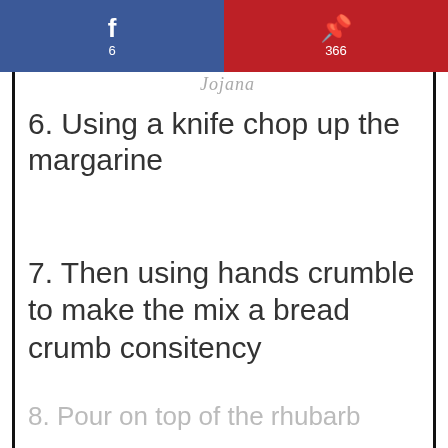[Figure (other): Social share bar with Facebook (6) and Pinterest (366) buttons]
6. Using a knife chop up the margarine
7. Then using hands crumble to make the mix a bread crumb consitency
8. Pour on top of the rhubarb